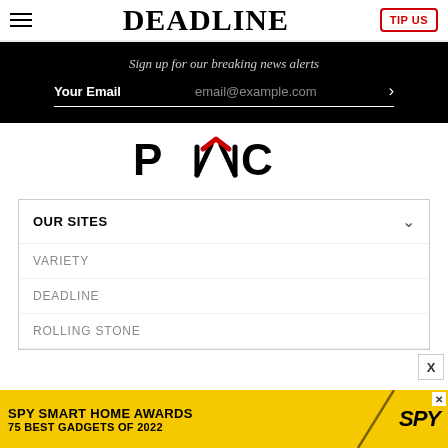DEADLINE | TIP US
Sign up for our breaking news alerts
Your Email  email@example.com
[Figure (logo): PMC logo — stylized letters P M C with a red chevron/arrow accent above the M]
OUR SITES
VARIETY
DEADLINE
ROLLING STONE
[Figure (illustration): SPY Smart Home Awards advertisement banner — 75 Best Gadgets of 2022]